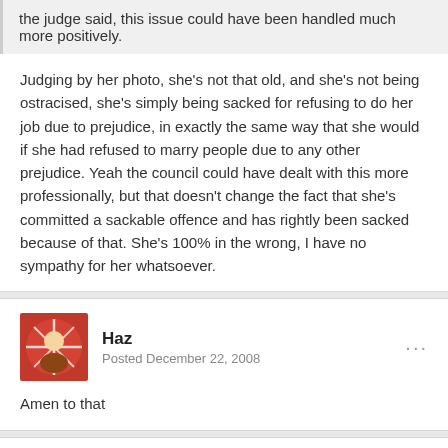the judge said, this issue could have been handled much more positively.
Judging by her photo, she's not that old, and she's not being ostracised, she's simply being sacked for refusing to do her job due to prejudice, in exactly the same way that she would if she had refused to marry people due to any other prejudice. Yeah the council could have dealt with this more professionally, but that doesn't change the fact that she's committed a sackable offence and has rightly been sacked because of that. She's 100% in the wrong, I have no sympathy for her whatsoever.
Haz
Posted December 22, 2008
Amen to that
Northerngimp